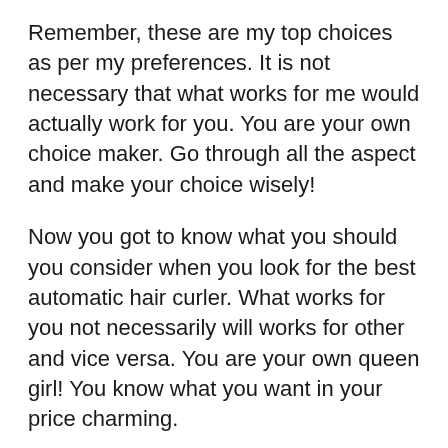Remember, these are my top choices as per my preferences. It is not necessary that what works for me would actually work for you. You are your own choice maker. Go through all the aspect and make your choice wisely!
Now you got to know what you should you consider when you look for the best automatic hair curler. What works for you not necessarily will works for other and vice versa. You are your own queen girl! You know what you want in your price charming.
Before choosing any curler just keep in mind the type of hair you have and your length of your hair. After all you know yourself better and what actually will work for you. I hope this article will help you to choose what's